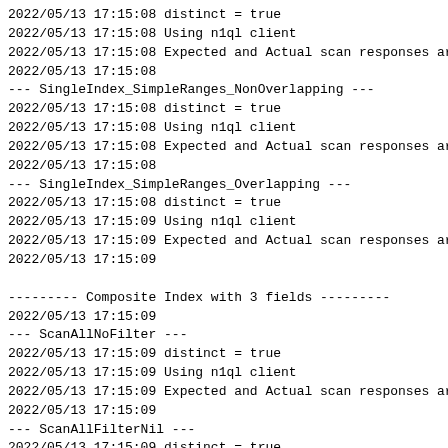2022/05/13 17:15:08 distinct = true
2022/05/13 17:15:08 Using n1ql client
2022/05/13 17:15:08 Expected and Actual scan responses ar
2022/05/13 17:15:08
--- SingleIndex_SimpleRanges_NonOverlapping ---
2022/05/13 17:15:08 distinct = true
2022/05/13 17:15:08 Using n1ql client
2022/05/13 17:15:08 Expected and Actual scan responses ar
2022/05/13 17:15:08
--- SingleIndex_SimpleRanges_Overlapping ---
2022/05/13 17:15:08 distinct = true
2022/05/13 17:15:09 Using n1ql client
2022/05/13 17:15:09 Expected and Actual scan responses ar
2022/05/13 17:15:09

--------- Composite Index with 3 fields ---------
2022/05/13 17:15:09
--- ScanAllNoFilter ---
2022/05/13 17:15:09 distinct = true
2022/05/13 17:15:09 Using n1ql client
2022/05/13 17:15:09 Expected and Actual scan responses ar
2022/05/13 17:15:09
--- ScanAllFilterNil ---
2022/05/13 17:15:09 distinct = true
2022/05/13 17:15:10 Using n1ql client
2022/05/13 17:15:10 Expected and Actual scan responses ar
2022/05/13 17:15:10
--- ScanAll_AllFiltersNil ---
2022/05/13 17:15:10 distinct = true
2022/05/13 17:15:10 Using n1ql client
2022/05/13 17:15:10 Expected and Actual scan responses ar